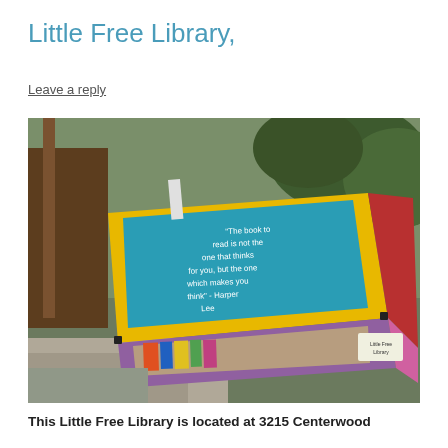Little Free Library,
Leave a reply
[Figure (photo): A colorful Little Free Library box on a post, viewed from above at an angle. The box is painted yellow, red, purple, and pink, with a teal/turquoise top panel that has white handwritten text reading a quote about reading. Books are visible inside behind a glass panel.]
This Little Free Library is located at 3215 Centerwood